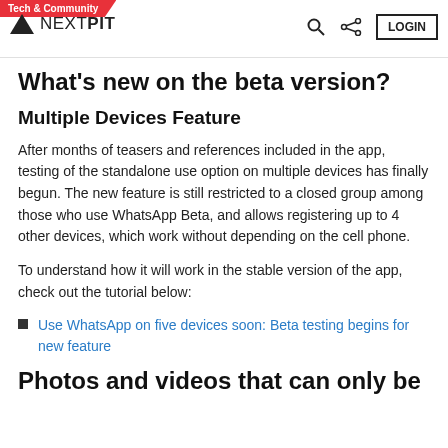Tech & Community | NEXTPIT | LOGIN
What's new on the beta version?
Multiple Devices Feature
After months of teasers and references included in the app, testing of the standalone use option on multiple devices has finally begun. The new feature is still restricted to a closed group among those who use WhatsApp Beta, and allows registering up to 4 other devices, which work without depending on the cell phone.
To understand how it will work in the stable version of the app, check out the tutorial below:
Use WhatsApp on five devices soon: Beta testing begins for new feature
Photos and videos that can only be